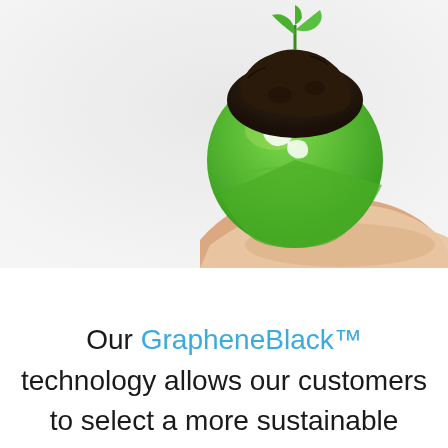NanoXplore
[Figure (photo): A hand holding a green globe/earth made of leaves with dark soil and a small plant sprouting on top, representing environmental sustainability.]
Our GrapheneBlack™ technology allows our customers to select a more sustainable option compared to carbon black without